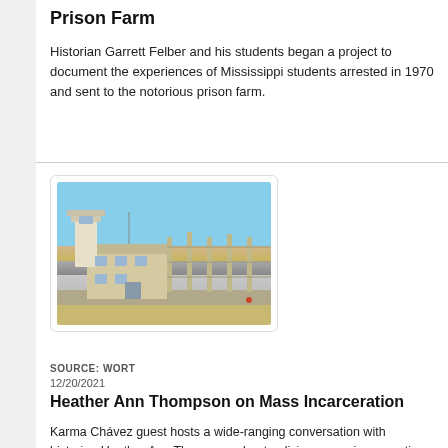Prison Farm
Historian Garrett Felber and his students began a project to document the experiences of Mississippi students arrested in 1970 and sent to the notorious prison farm.
[Figure (photo): Exterior photo of a prison facility with a guard tower, fencing, and institutional buildings under a blue sky.]
SOURCE: WORT
12/20/2021
Heather Ann Thompson on Mass Incarceration
Karma Chávez guest hosts a wide-ranging conversation with historian Heather Ann Thompson about policing, mass incarceration, and why overhauling the criminal justice system is the civil rights issue of our time.